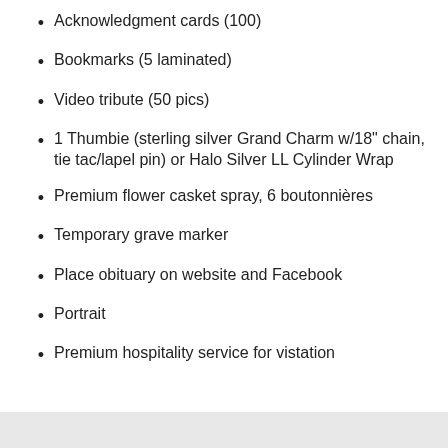Acknowledgment cards (100)
Bookmarks (5 laminated)
Video tribute (50 pics)
1 Thumbie (sterling silver Grand Charm w/18" chain, tie tac/lapel pin) or Halo Silver LL Cylinder Wrap
Premium flower casket spray, 6 boutonnières
Temporary grave marker
Place obituary on website and Facebook
Portrait
Premium hospitality service for vistation